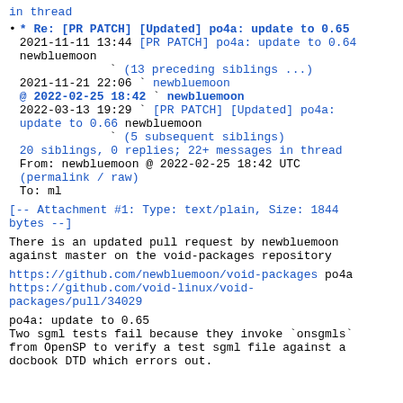in thread
* Re: [PR PATCH] [Updated] po4a: update to 0.65
2021-11-11 13:44 [PR PATCH] po4a: update to 0.64 newbluemoon
(13 preceding siblings ...)
2021-11-21 22:06 newbluemoon
@ 2022-02-25 18:42 newbluemoon
2022-03-13 19:29 [PR PATCH] [Updated] po4a: update to 0.66 newbluemoon
(5 subsequent siblings)
20 siblings, 0 replies; 22+ messages in thread
From: newbluemoon @ 2022-02-25 18:42 UTC
(permalink / raw)
To: ml
[-- Attachment #1: Type: text/plain, Size: 1844 bytes --]
There is an updated pull request by newbluemoon against master on the void-packages repository
https://github.com/newbluemoon/void-packages po4a
https://github.com/void-linux/void-packages/pull/34029
po4a: update to 0.65
Two sgml tests fail because they invoke `onsgmls`
from OpenSP to verify a test sgml file against a docbook DTD which errors out.